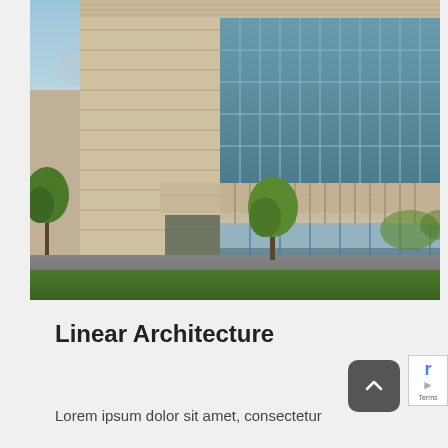[Figure (photo): Exterior photograph of a modern multi-story office building with stone cladding and large glass curtain walls. Green trees in foreground, blue sky with clouds in background, green lawn at base.]
Linear Architecture
Lorem ipsum dolor sit amet, consectetur